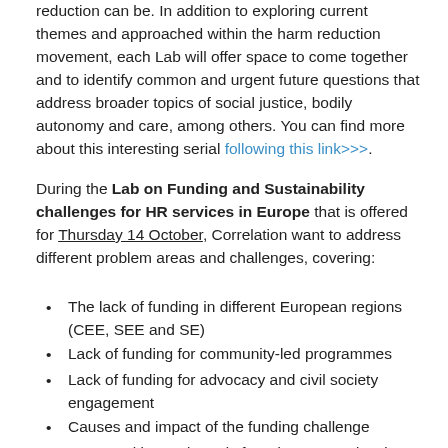reduction can be. In addition to exploring current themes and approached within the harm reduction movement, each Lab will offer space to come together and to identify common and urgent future questions that address broader topics of social justice, bodily autonomy and care, among others. You can find more about this interesting serial following this link>>>.
During the Lab on Funding and Sustainability challenges for HR services in Europe that is offered for Thursday 14 October, Correlation want to address different problem areas and challenges, covering:
The lack of funding in different European regions (CEE, SEE and SE)
Lack of funding for community-led programmes
Lack of funding for advocacy and civil society engagement
Causes and impact of the funding challenge
Opportunities and needs for advocacy and action
Good Practice Examples
Innovative approaches